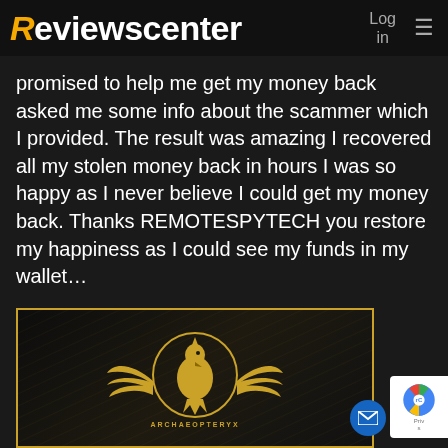Reviewscenter  Log in  ≡
promised to help me get my money back asked me some info about the scammer which I provided. The result was amazing I recovered all my stolen money back in hours I was so happy as I never believe I could get my money back. Thanks REMOTESPYTECH you restore my happiness as I could see my funds in my wallet…
[Figure (logo): Archaeopteryx golden eagle logo with wings spread in a circle on a dark textured background with gold border, with 'ARCHAEOPTERYX' text below]